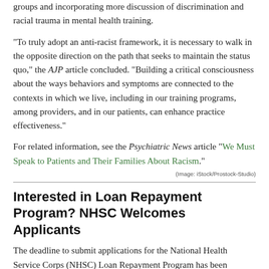groups and incorporating more discussion of discrimination and racial trauma in mental health training.
“To truly adopt an anti-racist framework, it is necessary to walk in the opposite direction on the path that seeks to maintain the status quo,” the AJP article concluded. “Building a critical consciousness about the ways behaviors and symptoms are connected to the contexts in which we live, including in our training programs, among providers, and in our patients, can enhance practice effectiveness.”
For related information, see the Psychiatric News article “We Must Speak to Patients and Their Families About Racism.”
(Image: iStock/Prostock-Studio)
Interested in Loan Repayment Program? NHSC Welcomes Applicants
The deadline to submit applications for the National Health Service Corps (NHSC) Loan Repayment Program has been extended until